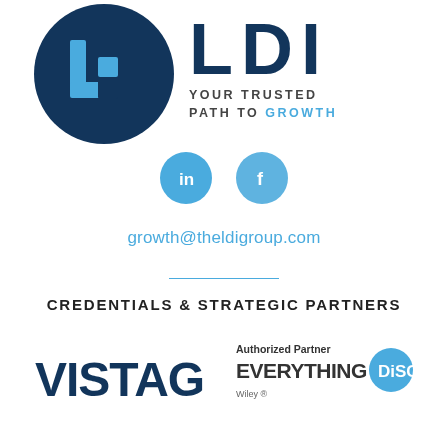[Figure (logo): LDI logo with dark blue circle and L-shaped bracket mark, and tagline 'YOUR TRUSTED PATH TO GROWTH' with GROWTH in blue]
[Figure (illustration): Two social media icon circles: LinkedIn (in) and Facebook (f) in light blue]
growth@theldigroup.com
CREDENTIALS & STRATEGIC PARTNERS
[Figure (logo): VISTAGE logo in bold dark blue text]
[Figure (logo): Authorized Partner Everything DiSC logo with orange/blue disc badge]